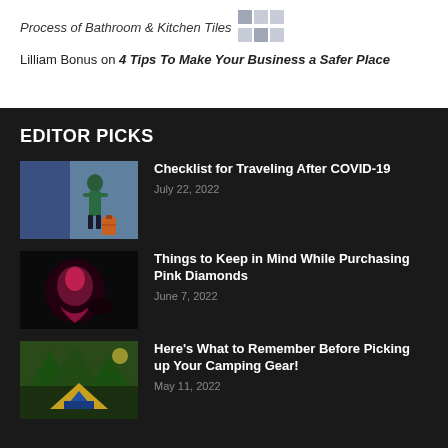Process of Bathroom & Kitchen Tiles
Lilliam Bonus on 4 Tips To Make Your Business a Safer Place
EDITOR PICKS
[Figure (photo): Person walking on a city street with a rolling orange suitcase, wearing a green jacket and mask]
Checklist for Traveling After COVID-19
July 22, 2022
[Figure (photo): Dark image of what appears to be a person or figure in a crouching position with pink/red coloring]
Things to Keep in Mind While Purchasing Pink Diamonds
June 7, 2022
[Figure (photo): Camping tent set in a forested area with trees overhead]
Here's What to Remember Before Picking up Your Camping Gear!
May 11, 2022